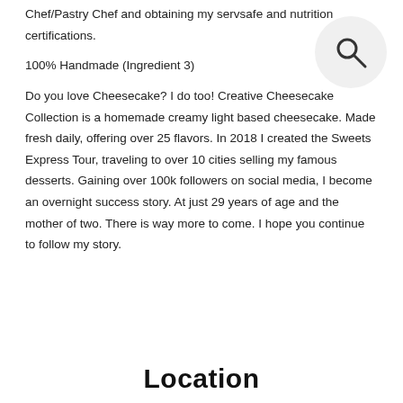Chef/Pastry Chef and obtaining my servsafe and nutrition certifications.
100% Handmade (Ingredient 3)
Do you love Cheesecake? I do too! Creative Cheesecake Collection is a homemade creamy light based cheesecake. Made fresh daily, offering over 25 flavors. In 2018 I created the Sweets Express Tour, traveling to over 10 cities selling my famous desserts. Gaining over 100k followers on social media, I become an overnight success story. At just 29 years of age and the mother of two. There is way more to come. I hope you continue to follow my story.
[Figure (illustration): Search icon (magnifying glass) inside a light gray circle, positioned top-right]
Location